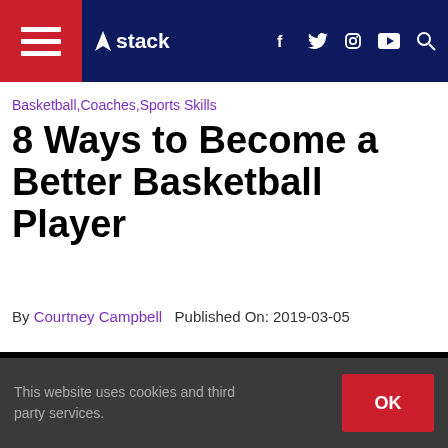stack — navigation bar with hamburger menu, logo, social icons (f, twitter, instagram, youtube), search
Basketball,Coaches,Sports Skills
8 Ways to Become a Better Basketball Player
By Courtney Campbell   Published On: 2019-03-05
[Figure (screenshot): Black video player area with a progress bar in the center]
This website uses cookies and third party services.